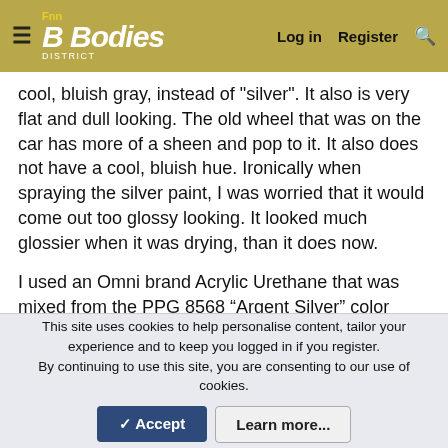Fnn B Bodies | Log in | Register
cool, bluish gray, instead of "silver". It also is very flat and dull looking. The old wheel that was on the car has more of a sheen and pop to it. It also does not have a cool, bluish hue. Ironically when spraying the silver paint, I was worried that it would come out too glossy looking. It looked much glossier when it was drying, than it does now.
I used an Omni brand Acrylic Urethane that was mixed from the PPG 8568 “Argent Silver” color formula. I was told by the paint shop, repeatedly, that this was the color code to use for Mopar Rallye wheels..
The paint spec sheets mentions that this paint can be “polished” after 16 hours drying time and clear coated after
This site uses cookies to help personalise content, tailor your experience and to keep you logged in if you register.
By continuing to use this site, you are consenting to our use of cookies.